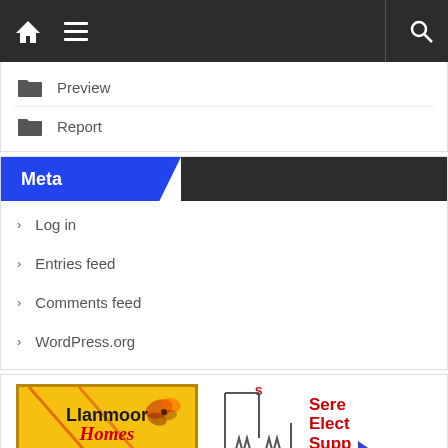Navigation bar with home, menu, and search icons
Preview
Report
Meta
Log in
Entries feed
Comments feed
WordPress.org
[Figure (logo): Llanmoor Homes logo on yellow background with butterfly graphic]
[Figure (logo): SES Electrical Supply logo with circuit diagram and red/blue text]